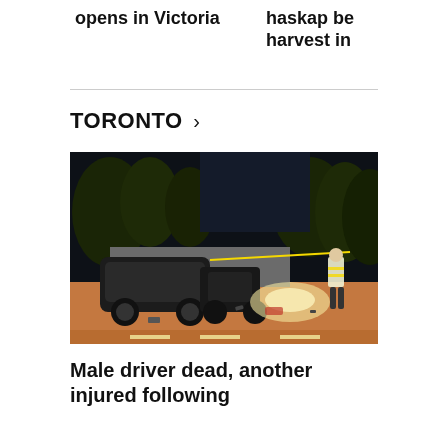opens in Victoria
haskap be harvest in
TORONTO >
[Figure (photo): Night scene of a car accident on a road. A wrecked dark-colored car is visible near a barrier wall with yellow police tape. A person wearing a reflective vest stands on the right side of the scene. Emergency lighting illuminates the area.]
Male driver dead, another injured following